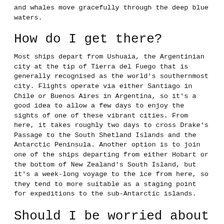and whales move gracefully through the deep blue waters.
How do I get there?
Most ships depart from Ushuaia, the Argentinian city at the tip of Tierra del Fuego that is generally recognised as the world's southernmost city. Flights operate via either Santiago in Chile or Buenos Aires in Argentina, so it's a good idea to allow a few days to enjoy the sights of one of these vibrant cities. From here, it takes roughly two days to cross Drake's Passage to the South Shetland Islands and the Antarctic Peninsula. Another option is to join one of the ships departing from either Hobart or the bottom of New Zealand's South Island, but it's a week-long voyage to the ice from here, so they tend to more suitable as a staging point for expeditions to the sub-Antarctic islands.
Should I be worried about seasickness?
Seasickness can strike anyone at any time, regardless of the conditions, but there are steps you can take to help: request a cabin near the centre of the ship, avoid rich food